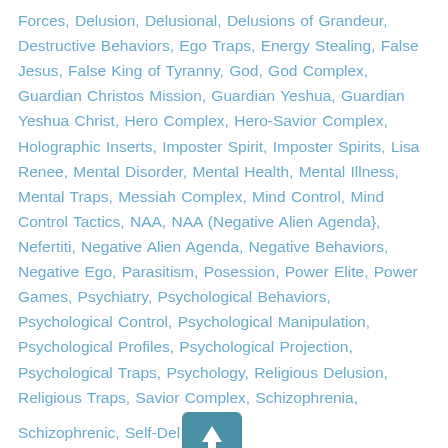Forces, Delusion, Delusional, Delusions of Grandeur, Destructive Behaviors, Ego Traps, Energy Stealing, False Jesus, False King of Tyranny, God, God Complex, Guardian Christos Mission, Guardian Yeshua, Guardian Yeshua Christ, Hero Complex, Hero-Savior Complex, Holographic Inserts, Imposter Spirit, Imposter Spirits, Lisa Renee, Mental Disorder, Mental Health, Mental Illness, Mental Traps, Messiah Complex, Mind Control, Mind Control Tactics, NAA, NAA (Negative Alien Agenda}, Nefertiti, Negative Alien Agenda, Negative Behaviors, Negative Ego, Parasitism, Posession, Power Elite, Power Games, Psychiatry, Psychological Behaviors, Psychological Control, Psychological Manipulation, Psychological Profiles, Psychological Projection, Psychological Traps, Psychology, Religious Delusion, Religious Traps, Savior Complex, Schizophrenia, Schizophrenic, Self-Del… Spiritual Possession, Spiritual Traps, Targeted Individual… Targeting, Time Shift Blog, Victim / Victimizer, Victim/Victimizer, Victimizer Archetypes, Yeshua 1 Comment